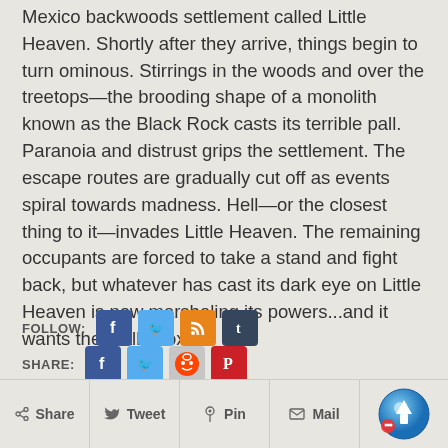Mexico backwoods settlement called Little Heaven. Shortly after they arrive, things begin to turn ominous. Stirrings in the woods and over the treetops—the brooding shape of a monolith known as the Black Rock casts its terrible pall. Paranoia and distrust grips the settlement. The escape routes are gradually cut off as events spiral towards madness. Hell—or the closest thing to it—invades Little Heaven. The remaining occupants are forced to take a stand and fight back, but whatever has cast its dark eye on Little Heaven is now marshaling its powers...and it wants them all.[/box]
[Figure (infographic): Social media follow and share buttons including Facebook, Twitter, RSS, Tumblr, Reddit, Pinterest, and email icons]
[Figure (infographic): Bottom share bar with Share, Tweet, Pin, Mail buttons and scroll-to-top button]